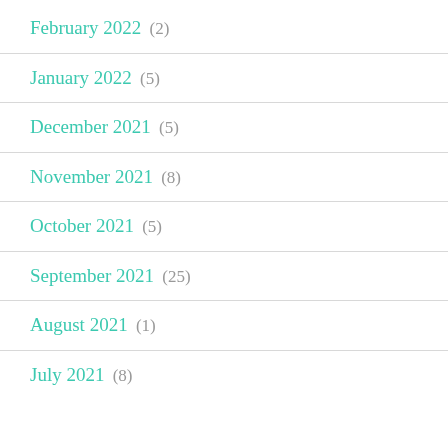February 2022 (2)
January 2022 (5)
December 2021 (5)
November 2021 (8)
October 2021 (5)
September 2021 (25)
August 2021 (1)
July 2021 (8)